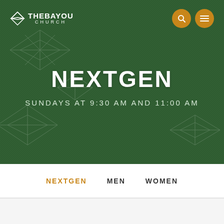[Figure (screenshot): The Bayou Church website screenshot showing hero banner with dark green background, geometric diamond wireframe patterns, church logo top-left, orange search and menu icons top-right, large white bold 'NEXTGEN' heading centered, subtitle 'SUNDAYS AT 9:30 AM AND 11:00 AM' below, and navigation tabs NEXTGEN (active/orange), MEN, WOMEN at bottom.]
THE BAYOU CHURCH
NEXTGEN
SUNDAYS AT 9:30 AM AND 11:00 AM
NEXTGEN
MEN
WOMEN